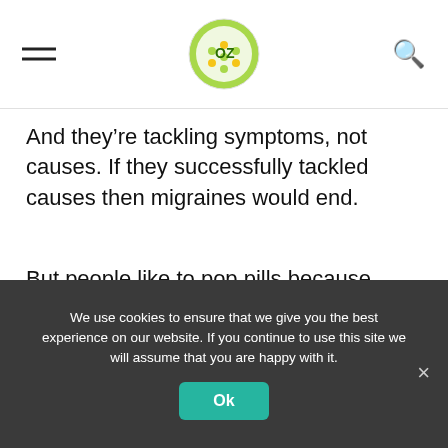OZ (logo)
And they’re tackling symptoms, not causes. If they successfully tackled causes then migraines would end.
But people like to pop pills because that’s easy to do – and we’re conditioned to believe there’s a pill for every problem. And pharma likes to sell pills because they make a lot of money.
We use cookies to ensure that we give you the best experience on our website. If you continue to use this site we will assume that you are happy with it.